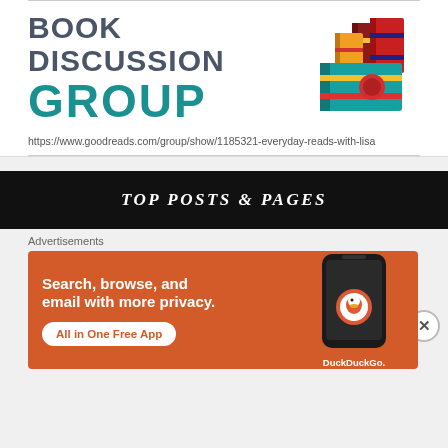[Figure (logo): Book Discussion Group logo with stacked colorful books illustration and text 'BOOK DISCUSSION GROUP']
https://www.goodreads.com/group/show/1185321-everyday-reads-with-lisa
TOP POSTS & PAGES
Advertisements
[Figure (screenshot): DuckDuckGo advertisement: 'Search, browse, and email with more privacy. All in One Free App' with phone image and DuckDuckGo logo on orange background]